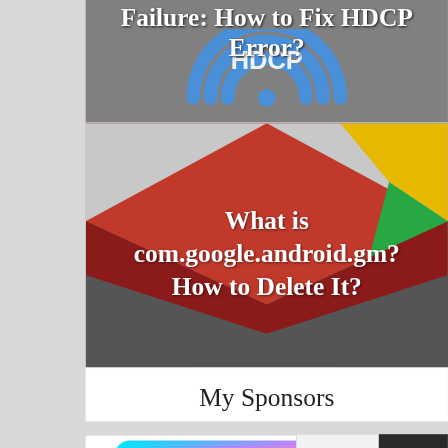[Figure (screenshot): Partial article card with dark gray background showing HDCP logo graphic and title text 'Failure: How to Fix HDCP Error?' in white bold serif font]
[Figure (screenshot): Article card with Gmail logo (colorful envelope shape on gray background) and white text overlay reading 'What is com.google.android.gm? How to Delete It?']
My Sponsors
[Figure (photo): Partial view of a smartphone with gradient blue-purple-pink color scheme, partially cropped at bottom]
[Figure (screenshot): reCAPTCHA badge and scroll-to-top button overlay in bottom right corner]